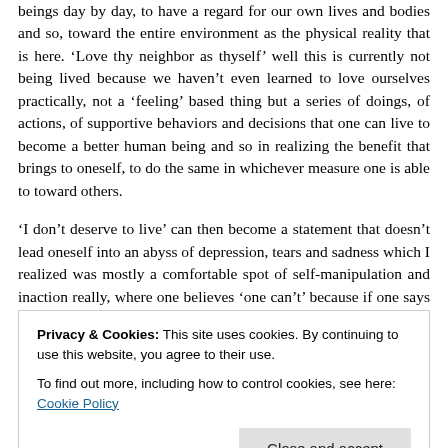beings day by day, to have a regard for our own lives and bodies and so, toward the entire environment as the physical reality that is here. ‘Love thy neighbor as thyself’ well this is currently not being lived because we haven’t even learned to love ourselves practically, not a ‘feeling’ based thing but a series of doings, of actions, of supportive behaviors and decisions that one can live to become a better human being and so in realizing the benefit that brings to oneself, to do the same in whichever measure one is able to toward others.
‘I don’t deserve to live’ can then become a statement that doesn’t lead oneself into an abyss of depression, tears and sadness which I realized was mostly a comfortable spot of self-manipulation and inaction really, where one believes ‘one can’t’ because if one says ‘one can’ in fact, there’s actual work to do and that’s usually resisted in the mind. So, rather my suggestion and here if in any moment
Privacy & Cookies: This site uses cookies. By continuing to use this website, you agree to their use.
To find out more, including how to control cookies, see here: Cookie Policy
where am I not living in integrity, where am I becoming